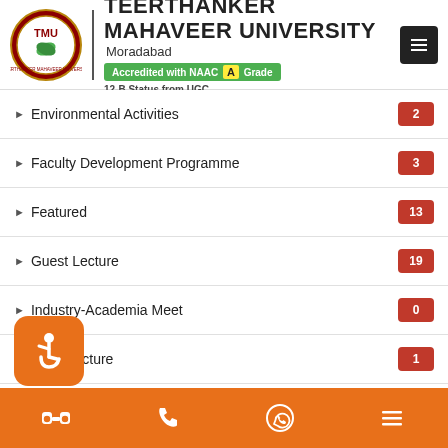[Figure (logo): Teerthanker Mahaveer University logo with TMU emblem and university name, NAAC A Grade accreditation badge, 12-B Status from UGC]
Environmental Activities 2
Faculty Development Programme 3
Featured 13
Guest Lecture 19
Industry-Academia Meet 0
Infrastructure 1
Orientation/Farewell 16
[Figure (infographic): Orange bottom navigation bar with binoculars, phone, WhatsApp, and menu icons; orange accessibility floating button with wheelchair icon]